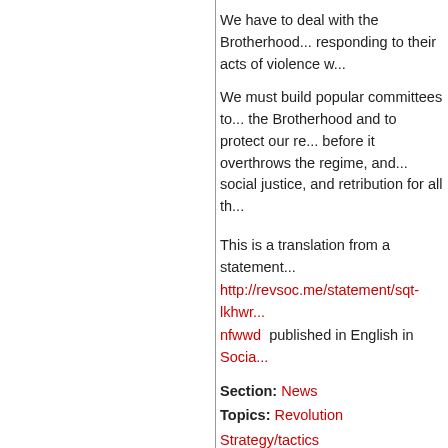We have to deal with the Brotherhood... responding to their acts of violence w...
We must build popular committees to... the Brotherhood and to protect our re... before it overthrows the regime, and... social justice, and retribution for all th...
This is a translation from a statement... http://revsoc.me/statement/sqt-lkhwr... nfwwd  published in English in Socia...
Section: News
Topics: Revolution Strategy/tactics
Geo Tags: International Middle East
[Figure (infographic): Social sharing icon bar with icons for Twitter, Facebook, Google+, StumbleUpon, Digg, Delicious, LinkedIn, Reddit, Pinterest, Reddit, Yahoo, Email]
Tweet  8  Share
About  Copyright and Le...